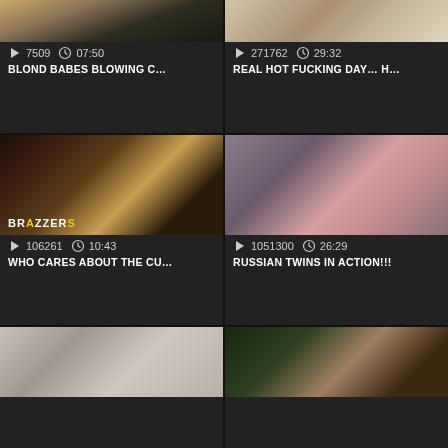[Figure (screenshot): Video thumbnail grid showing adult video website with 6 video cards in 2-column layout. Each card shows thumbnail image, view count with play icon, duration with clock icon, and video title.]
7509  07:50
BLOND BABES BLOWING C...
271762  29:32
REAL HOT FUCKING DAY... H...
106261  10:43
WHO CARES ABOUT THE CU...
1051300  26:29
RUSSIAN TWINS IN ACTION!!!